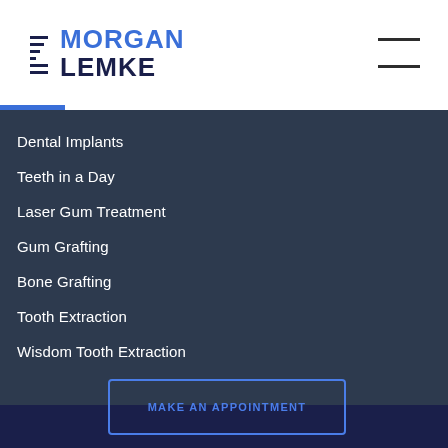[Figure (logo): Morgan Lemke dental logo — 'MORGAN' in blue and 'LEMKE' in dark navy with stylized L graphic]
Dental Implants
Teeth in a Day
Laser Gum Treatment
Gum Grafting
Bone Grafting
Tooth Extraction
Wisdom Tooth Extraction
MAKE AN APPOINTMENT